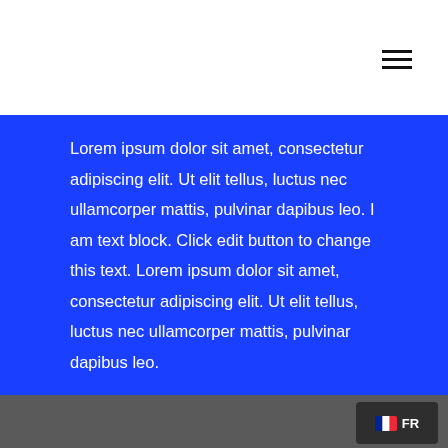Lorem ipsum dolor sit amet, consectetur adipiscing elit. Ut elit tellus, luctus nec ullamcorper mattis, pulvinar dapibus leo. I am text block. Click edit button to change this text. Lorem ipsum dolor sit amet, consectetur adipiscing elit. Ut elit tellus, luctus nec ullamcorper mattis, pulvinar dapibus leo.
FR